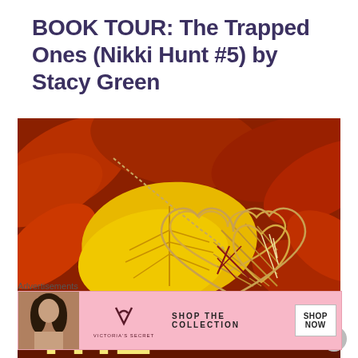BOOK TOUR: The Trapped Ones (Nikki Hunt #5) by Stacy Green
[Figure (illustration): Book cover for 'The Trapped Ones' showing autumn leaves in red, orange, and yellow, with a wicker/wire heart pendant on a chain. Large yellow text 'THE' visible at the bottom of the cover.]
Advertisements
[Figure (other): Victoria's Secret advertisement banner with pink background, showing a woman model on the left, Victoria's Secret logo in the center, text 'SHOP THE COLLECTION' and a white 'SHOP NOW' button on the right.]